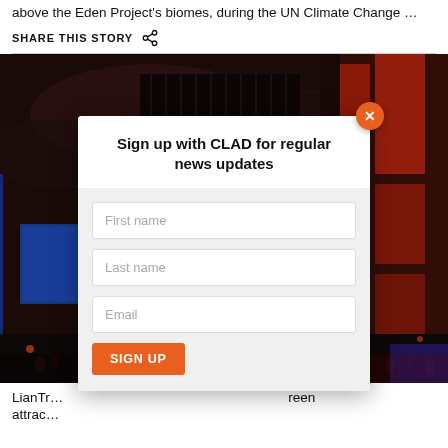above the Eden Project's biomes, during the UN Climate Change …
SHARE THIS STORY
[Figure (photo): Night cityscape photo showing tall buildings lit with red and blue lights against a dark sky, with crowds and signage visible at street level. A modal sign-up dialog box overlays the image.]
LianTr... reen attrac...